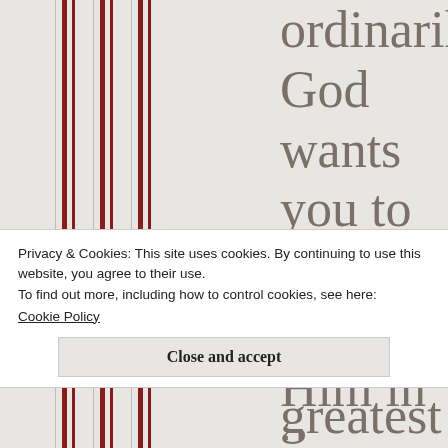ordinarily God wants you to work for Him in the area where you struggled the worse
Privacy & Cookies: This site uses cookies. By continuing to use this website, you agree to their use.
To find out more, including how to control cookies, see here:
Cookie Policy
Close and accept
greatest